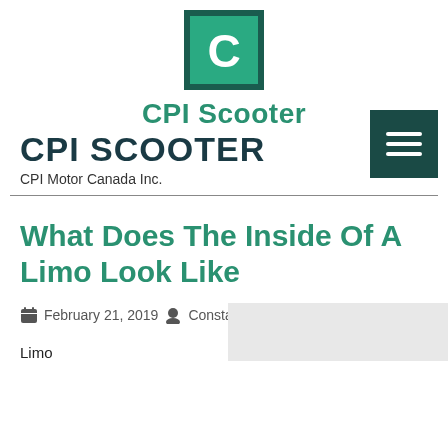[Figure (logo): CPI Scooter logo: green square with dark green border and white letter C]
CPI Scooter
CPI SCOOTER
CPI Motor Canada Inc.
What Does The Inside Of A Limo Look Like
February 21, 2019  Constance Fisher  0 Comments
Limo